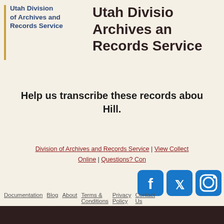[Figure (logo): Utah Division of Archives and Records Service logo with gold vertical bar and blue text]
Utah Division of Archives and Records Service
Help us transcribe these records about Hill.
Division of Archives and Records Service | View Collection Online | Questions? Contact Us
[Figure (illustration): Social media icons: Facebook, Twitter, Instagram]
Documentation  Blog  About  Terms & Conditions  Privacy Policy  Contact Us